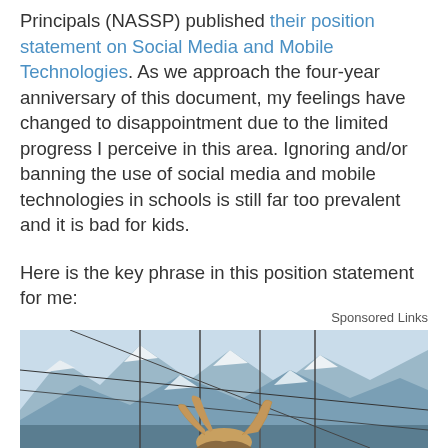Principals (NASSP) published their position statement on Social Media and Mobile Technologies. As we approach the four-year anniversary of this document, my feelings have changed to disappointment due to the limited progress I perceive in this area. Ignoring and/or banning the use of social media and mobile technologies in schools is still far too prevalent and it is bad for kids.
Here is the key phrase in this position statement for me:
Sponsored Links
[Figure (photo): A person with long hair standing outdoors in front of snowy mountain peaks with cables or wires visible in the foreground.]